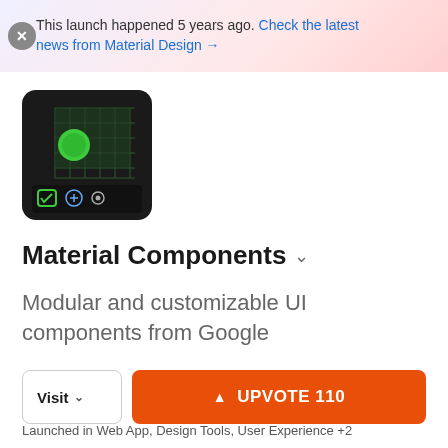This launch happened 5 years ago. Check the latest news from Material Design →
[Figure (screenshot): Material Components product icon on dark background showing a grid of squares with a green circle and UI elements]
Material Components ∨
Modular and customizable UI components from Google
Visit ∨   ▲ UPVOTE 110
Launched in Web App, Design Tools, User Experience +2